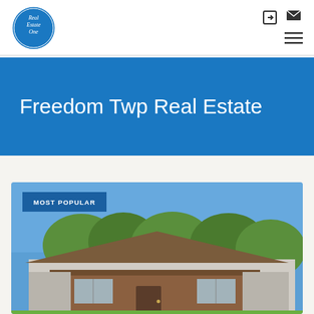[Figure (logo): Real Estate One circular blue logo with white text]
Real Estate One website header with navigation icons and hamburger menu
Freedom Twp Real Estate
[Figure (photo): Photograph of a single-story brick ranch house with brown roof, green trees behind it, and blue sky. A 'MOST POPULAR' badge overlays the top-left corner of the image.]